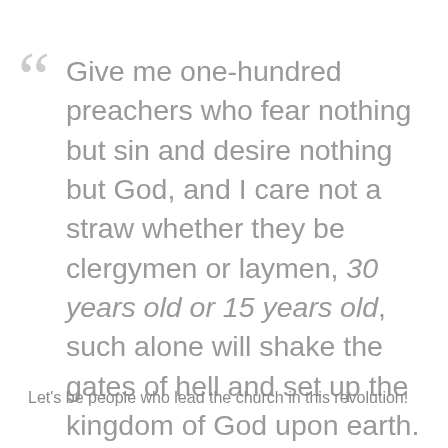Give me one-hundred preachers who fear nothing but sin and desire nothing but God, and I care not a straw whether they be clergymen or laymen, 30 years old or 15 years old, such alone will shake the gates of hell and set up the kingdom of God upon earth.
Let's be people who lead the church in this revolution!